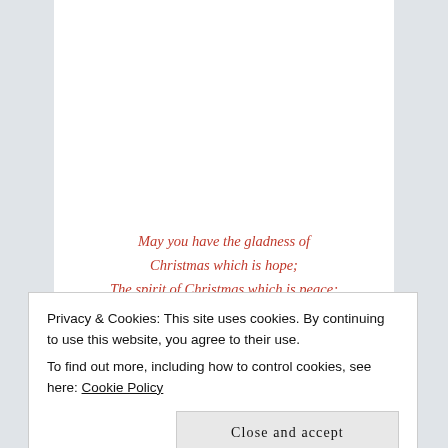May you have the gladness of Christmas which is hope; The spirit of Christmas which is peace; The heart of Christmas which is love. — W.G.K. Hendricks
Privacy & Cookies: This site uses cookies. By continuing to use this website, you agree to their use.
To find out more, including how to control cookies, see here: Cookie Policy
Close and accept